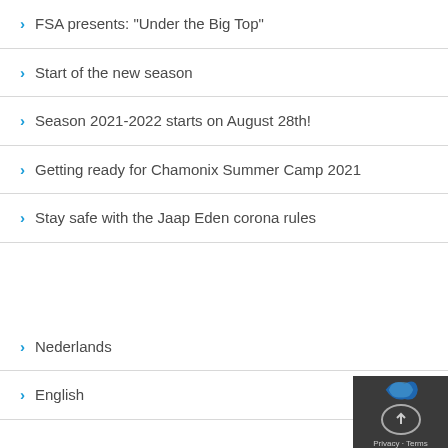FSA presents: "Under the Big Top"
Start of the new season
Season 2021-2022 starts on August 28th!
Getting ready for Chamonix Summer Camp 2021
Stay safe with the Jaap Eden corona rules
Nederlands
English